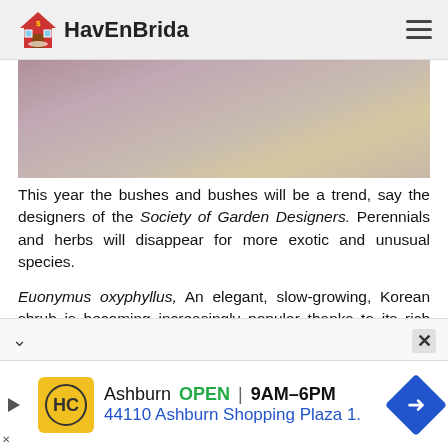HavEnBrida
[Figure (photo): Blurred garden/plant image with pink-purple and olive tones]
This year the bushes and bushes will be a trend, say the designers of the Society of Garden Designers. Perennials and herbs will disappear for more exotic and unusual species.
Euonymus oxyphyllus, An elegant, slow-growing, Korean shrub is becoming increasingly popular thanks to its rich emerald green leaves that change to
[Figure (screenshot): Advertisement banner: HC logo, Ashburn OPEN 9AM–6PM, 44110 Ashburn Shopping Plaza 1.]